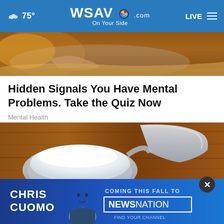75° WSAV.com On Your Side LIVE
[Figure (photo): Sleeping person under blankets, warm orange-toned lighting, top portion of article image]
Hidden Signals You Have Mental Problems. Take the Quiz Now
Mental Health
[Figure (photo): Clear plastic measuring scoop filled with white powder on a wooden surface]
[Figure (photo): Chris Cuomo advertisement banner: COMING THIS FALL TO NEWSNATION, FIND YOUR CHANNEL]